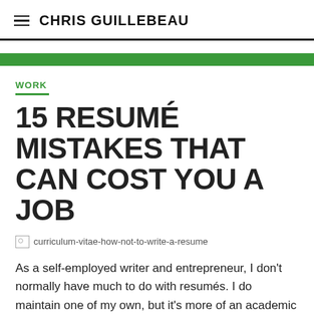CHRIS GUILLEBEAU
WORK
15 RESUMÉ MISTAKES THAT CAN COST YOU A JOB
[Figure (other): Broken image placeholder labeled curriculum-vitae-how-not-to-write-a-resume]
As a self-employed writer and entrepreneur, I don't normally have much to do with resumés. I do maintain one of my own, but it's more of an academic